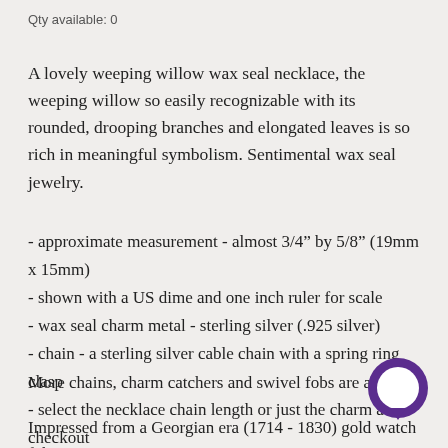Qty available: 0
A lovely weeping willow wax seal necklace, the weeping willow so easily recognizable with its rounded, drooping branches and elongated leaves is so rich in meaningful symbolism. Sentimental wax seal jewelry.
- approximate measurement - almost 3/4” by 5/8” (19mm x 15mm)
- shown with a US dime and one inch ruler for scale
- wax seal charm metal - sterling silver (.925 silver)
- chain - a sterling silver cable chain with a spring ring clasp
- select the necklace chain length or just the charm at checkout
More chains, charm catchers and swivel fobs are avail
[Figure (illustration): Purple circle chat bubble icon overlapping text]
Impressed from a Georgian era (1714 - 1830) gold watch fob